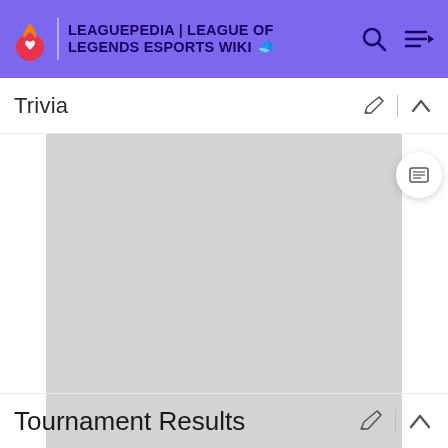LEAGUEPEDIA | LEAGUE OF LEGENDS ESPORTS WIKI
Trivia
[Figure (other): Advertisement placeholder — large light gray rectangle with a light blue bar at the bottom labeled ADVERTISEMENT]
Tournament Results